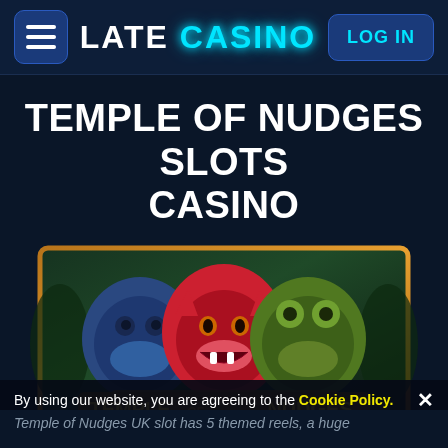LATE CASINO — LOG IN
TEMPLE OF NUDGES SLOTS CASINO
[Figure (screenshot): Temple of Nudges slot game promotional image showing animal heads (monkey, jaguar, frog) with golden 'TEMPLE OF NUDGES' logo text on jungle background]
JOIN | PLAY
By using our website, you are agreeing to the Cookie Policy. ✕
Temple of Nudges UK slot has 5 themed reels, a huge